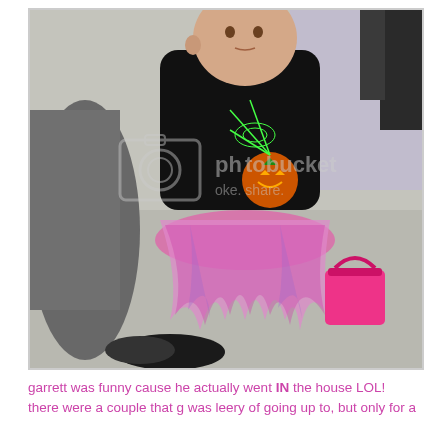[Figure (photo): A toddler wearing a black Halloween shirt with a pumpkin/spider web design and a pink/purple tulle tutu skirt, holding a pink trick-or-treat bucket, holding the hand of an adult. A Photobucket watermark is overlaid on the photo.]
garrett was funny cause he actually went IN the house LOL! there were a couple that g was leery of going up to, but only for a